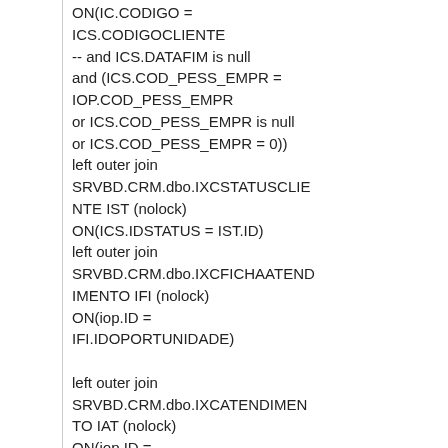ON(IC.CODIGO =
ICS.CODIGOCLIENTE
-- and ICS.DATAFIM is null
and (ICS.COD_PESS_EMPR =
IOP.COD_PESS_EMPR
or ICS.COD_PESS_EMPR is null
or ICS.COD_PESS_EMPR = 0))
left outer join
SRVBD.CRM.dbo.IXCSTATUSCLIENTE IST (nolock)
ON(ICS.IDSTATUS = IST.ID)
left outer join
SRVBD.CRM.dbo.IXCFICHAATENDIMENTO IFI (nolock)
ON(iop.ID =
IFI.IDOPORTUNIDADE)

left outer join
SRVBD.CRM.dbo.IXCATENDIMENTO IAT (nolock)
ON(iop.ID =
IAT.IDOPORTUNIDADE)